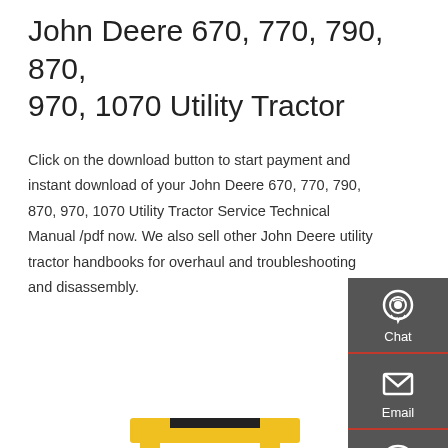John Deere 670, 770, 790, 870, 970, 1070 Utility Tractor
Click on the download button to start payment and instant download of your John Deere 670, 770, 790, 870, 970, 1070 Utility Tractor Service Technical Manual /pdf now. We also sell other John Deere utility tractor handbooks for overhaul and troubleshooting and disassembly.
Get a quote
[Figure (photo): Yellow mini excavator/compact utility tractor with black canopy roof, shown from a side-front angle]
[Figure (infographic): Dark grey sidebar with three contact icons and labels: Chat (headset icon), Email (envelope icon), Contact (speech bubble icon), separated by red dividers]